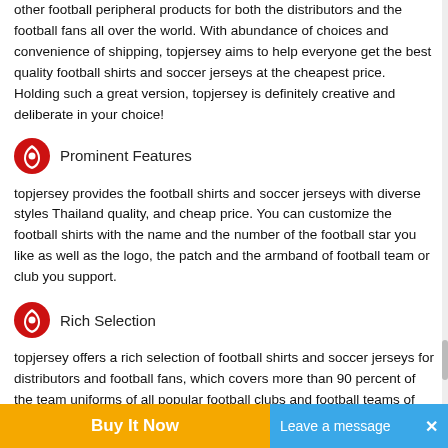other football peripheral products for both the distributors and the football fans all over the world. With abundance of choices and convenience of shipping, topjersey aims to help everyone get the best quality football shirts and soccer jerseys at the cheapest price. Holding such a great version, topjersey is definitely creative and deliberate in your choice!
Prominent Features
topjersey provides the football shirts and soccer jerseys with diverse styles—Thailand quality, and cheap price. You can customize the football shirts with the name and the number of the football star you like as well as the logo, the patch and the armband of football team or club you support.
Rich Selection
topjersey offers a rich selection of football shirts and soccer jerseys for distributors and football fans, which covers more than 90 percent of the team uniforms of all popular football clubs and football teams of different nations around the world.